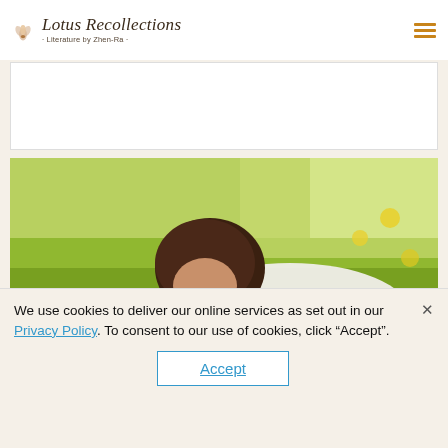Lotus Recollections · Literature by Zhen-Ra
[Figure (illustration): White rectangular banner area below the site header navigation, appears as a placeholder or advertisement space with light border.]
[Figure (photo): A young boy lying in a green grassy field with yellow dandelion flowers, leaning down to smell or inspect a flower close to the ground, wearing a white shirt.]
Published on 03 Oct 2020
We use cookies to deliver our online services as set out in our Privacy Policy. To consent to our use of cookies, click "Accept".
Accept